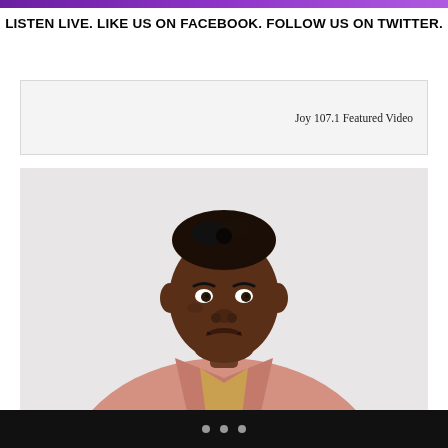LISTEN LIVE. LIKE US ON FACEBOOK. FOLLOW US ON TWITTER.
Joy 107.1 Featured Video
[Figure (photo): Portrait photo of a young Black man wearing a rose/mauve blazer over a mustard yellow crewneck sweater, with a gold chain necklace, smiling slightly with his head tilted, against a white/light grey background.]
• • •